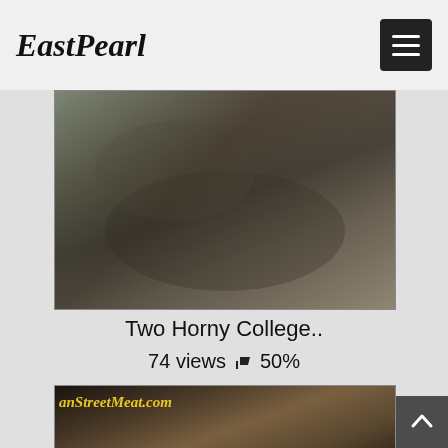EastPearl
[Figure (photo): Thumbnail image for a video]
Two Horny College..
74 views 👍 50%
[Figure (photo): Thumbnail image with watermark text 'anStreetMeat.com' and 'n Apple Seed .com']